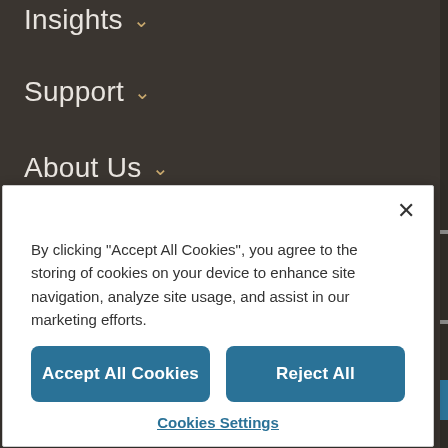Insights ∨
Support ∨
About Us ∨
New Feature ∨
By clicking "Accept All Cookies", you agree to the storing of cookies on your device to enhance site navigation, analyze site usage, and assist in our marketing efforts.
Accept All Cookies
Reject All
Cookies Settings